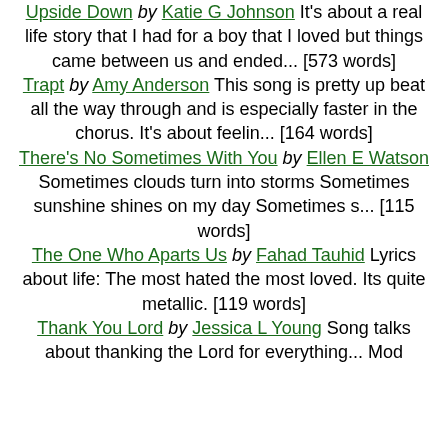Upside Down by Katie G Johnson It's about a real life story that I had for a boy that I loved but things came between us and ended... [573 words]
Trapt by Amy Anderson This song is pretty up beat all the way through and is especially faster in the chorus. It's about feelin... [164 words]
There's No Sometimes With You by Ellen E Watson Sometimes clouds turn into storms Sometimes sunshine shines on my day Sometimes s... [115 words]
The One Who Aparts Us by Fahad Tauhid Lyrics about life: The most hated the most loved. Its quite metallic. [119 words]
Thank You Lord by Jessica L Young Song talks about thanking the Lord for everything... Mo...